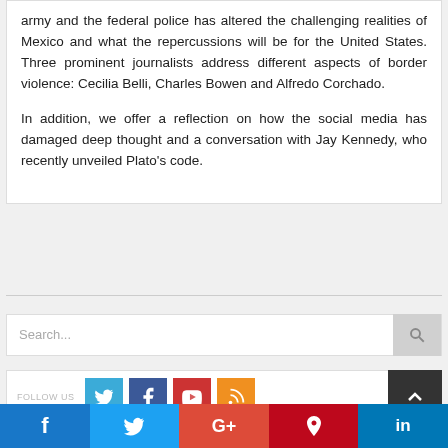army and the federal police has altered the challenging realities of Mexico and what the repercussions will be for the United States. Three prominent journalists address different aspects of border violence: Cecilia Belli, Charles Bowen and Alfredo Corchado.
In addition, we offer a reflection on how the social media has damaged deep thought and a conversation with Jay Kennedy, who recently unveiled Plato's code.
Search...
FOLLOW US